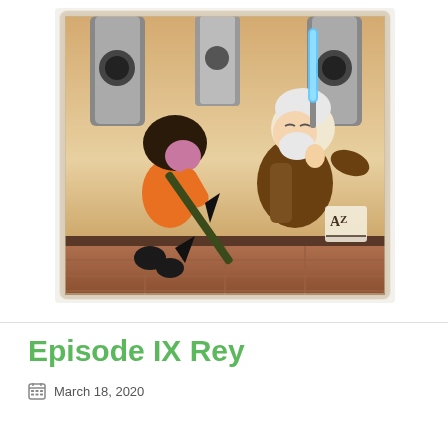[Figure (illustration): Cartoon illustration of two Star Wars characters in a lightsaber duel: a dark-haired figure in an orange jumpsuit wielding a dark staff, and an older white-haired bearded man in brown Jedi robes holding a blue lightsaber, set in a sci-fi corridor with cylindrical pillars. Artist signature 'AZ' visible in lower right.]
Episode IX Rey
March 18, 2020